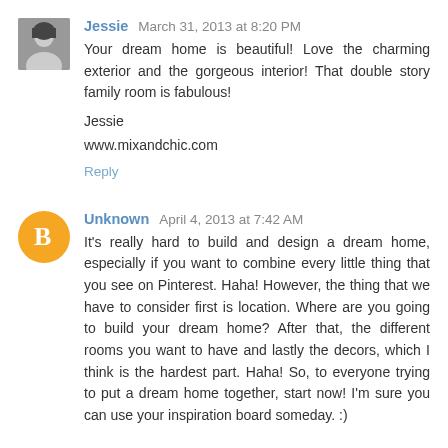Jessie March 31, 2013 at 8:20 PM
Your dream home is beautiful! Love the charming exterior and the gorgeous interior! That double story family room is fabulous!

Jessie
www.mixandchic.com
Reply
Unknown April 4, 2013 at 7:42 AM
It's really hard to build and design a dream home, especially if you want to combine every little thing that you see on Pinterest. Haha! However, the thing that we have to consider first is location. Where are you going to build your dream home? After that, the different rooms you want to have and lastly the decors, which I think is the hardest part. Haha! So, to everyone trying to put a dream home together, start now! I'm sure you can use your inspiration board someday. :)